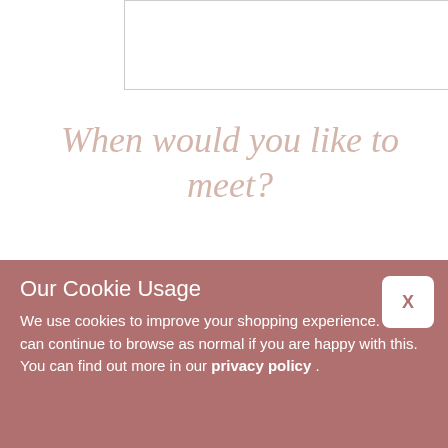[Figure (other): Empty input text box (partially visible, cropped at top of page)]
When would you like to meet?
PREFERRED DAYS
[Figure (other): Empty input text box for preferred days]
PREFERRED TIME
[Figure (other): Empty input text box for preferred time]
Our Cookie Usage
We use cookies to improve your shopping experience. You can continue to browse as normal if you are happy with this. You can find out more in our privacy policy .